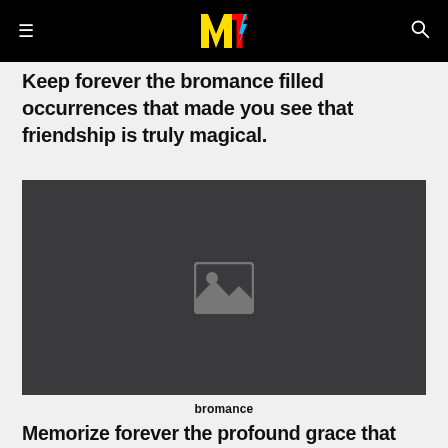MTV
Keep forever the bromance filled occurrences that made you see that friendship is truly magical.
[Figure (photo): Placeholder image with mountain/landscape icon on dark background]
bromance
Memorize forever the profound grace that can be found in simplicity.